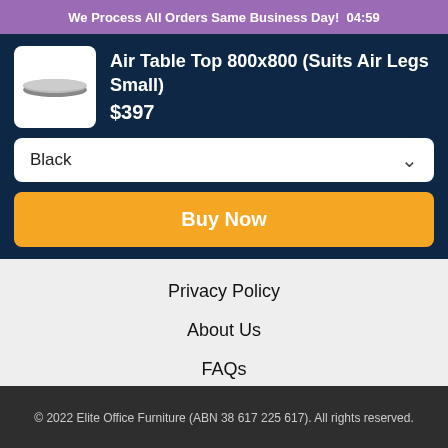We Process All Orders Same Business Day!  04:59
Air Table Top 800x800 (Suits Air Legs Small)
$397
Black
Buy Now
Privacy Policy
About Us
FAQs
© 2022 Elite Office Furniture (ABN 38 617 225 617). All rights reserved.